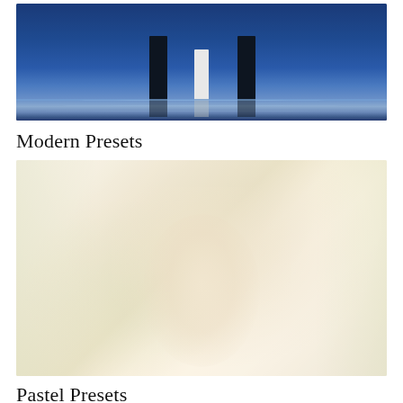[Figure (photo): Three people standing in shallow water, seen from the waist down. Two figures in dark jeans on the sides and one in a white dress in the center. Their reflections visible in the still blue water below.]
Modern Presets
[Figure (photo): A washed-out, high-key pastel photograph of a blonde woman with long hair, wearing a dark turtleneck and plaid jacket, surrounded by pale tall grasses.]
Pastel Presets